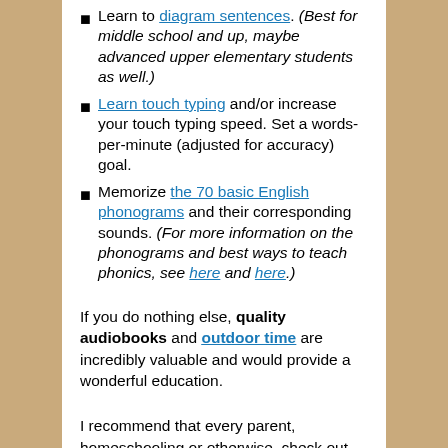Learn to diagram sentences. (Best for middle school and up, maybe advanced upper elementary students as well.)
Learn touch typing and/or increase your touch typing speed. Set a words-per-minute (adjusted for accuracy) goal.
Memorize the 70 basic English phonograms and their corresponding sounds. (For more information on the phonograms and best ways to teach phonics, see here and here.)
If you do nothing else, quality audiobooks and outdoor time are incredibly valuable and would provide a wonderful education.
I recommend that every parent, homeschooling or otherwise, check out this free talk by Andrew Pudewa, “Nurturing Competent